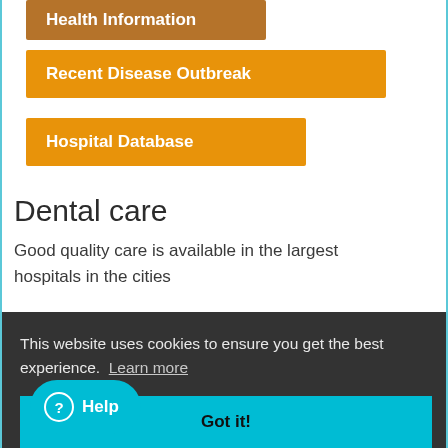Health Information
Recent Disease Outbreak
Hospital Database
Dental care
Good quality care is available in the largest hospitals in the cities
This website uses cookies to ensure you get the best experience.  Learn more
Got it!
Help